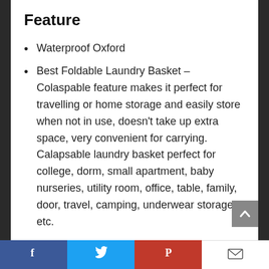Feature
Waterproof Oxford
Best Foldable Laundry Basket – Colaspable feature makes it perfect for travelling or home storage and easily store when not in use, doesn't take up extra space, very convenient for carrying. Calapsable laundry basket perfect for college, dorm, small apartment, baby nurseries, utility room, office, table, family, door, travel, camping, underwear storage etc.
Facebook | Twitter | Pinterest | Email